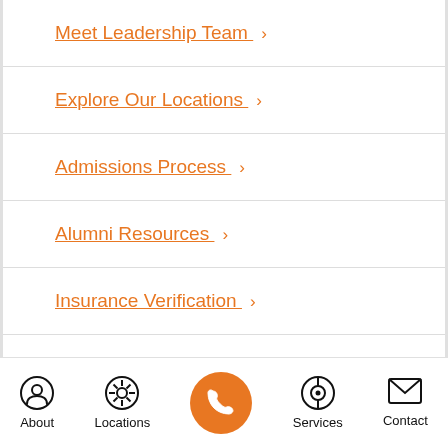Meet Leadership Team >
Explore Our Locations >
Admissions Process >
Alumni Resources >
Insurance Verification >
Contact Northbound >
About  Locations  [phone]  Services  Contact